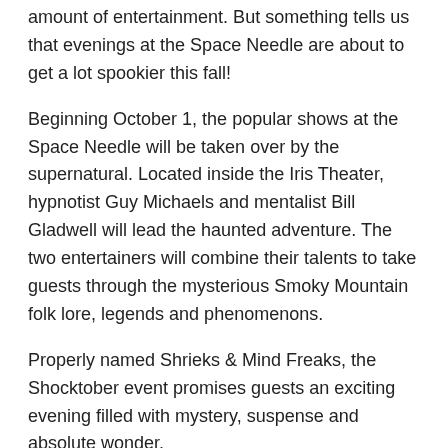amount of entertainment. But something tells us that evenings at the Space Needle are about to get a lot spookier this fall!
Beginning October 1, the popular shows at the Space Needle will be taken over by the supernatural. Located inside the Iris Theater, hypnotist Guy Michaels and mentalist Bill Gladwell will lead the haunted adventure. The two entertainers will combine their talents to take guests through the mysterious Smoky Mountain folk lore, legends and phenomenons.
Properly named Shrieks & Mind Freaks, the Shocktober event promises guests an exciting evening filled with mystery, suspense and absolute wonder.
Tickets to this year's Halloween event are $16.95 for adults and $7.95 for children ages 4-12. Shows run Wednesday-Monday, October 1-31 inside the Gatlin...